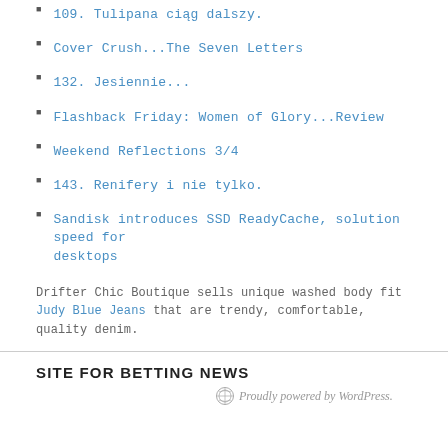109. Tulipana ciąg dalszy.
Cover Crush...The Seven Letters
132. Jesiennie...
Flashback Friday: Women of Glory...Review
Weekend Reflections 3/4
143. Renifery i nie tylko.
Sandisk introduces SSD ReadyCache, solution speed for desktops
Drifter Chic Boutique sells unique washed body fit Judy Blue Jeans that are trendy, comfortable, quality denim.
SITE FOR BETTING NEWS
Proudly powered by WordPress.